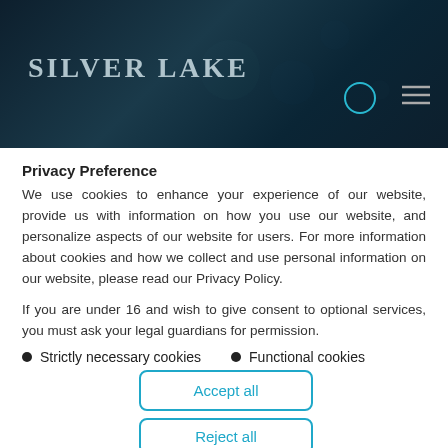Silver Lake
Privacy Preference
We use cookies to enhance your experience of our website, provide us with information on how you use our website, and personalize aspects of our website for users. For more information about cookies and how we collect and use personal information on our website, please read our Privacy Policy.
If you are under 16 and wish to give consent to optional services, you must ask your legal guardians for permission.
Strictly necessary cookies
Functional cookies
Accept all
Reject all